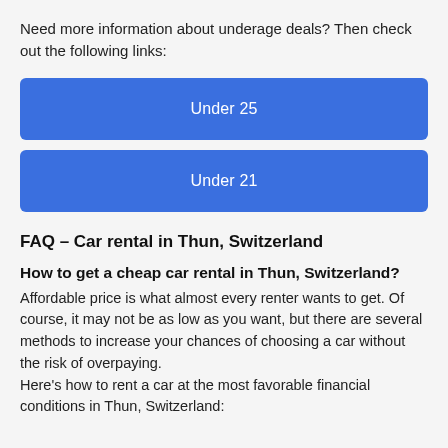Need more information about underage deals? Then check out the following links:
Under 25
Under 21
FAQ – Car rental in Thun, Switzerland
How to get a cheap car rental in Thun, Switzerland?
Affordable price is what almost every renter wants to get. Of course, it may not be as low as you want, but there are several methods to increase your chances of choosing a car without the risk of overpaying.
Here's how to rent a car at the most favorable financial conditions in Thun, Switzerland:
Book as early as you can — it will...